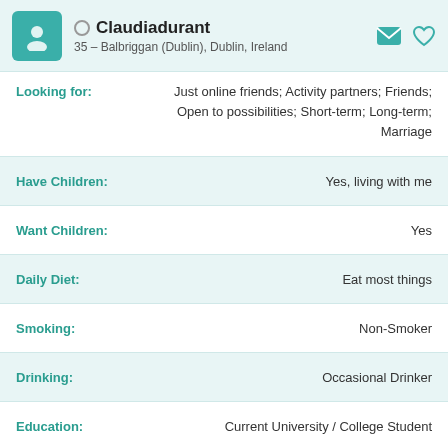Claudiadurant – 35 – Balbriggan (Dublin), Dublin, Ireland
Looking for: Just online friends; Activity partners; Friends; Open to possibilities; Short-term; Long-term; Marriage
Have Children: Yes, living with me
Want Children: Yes
Daily Diet: Eat most things
Smoking: Non-Smoker
Drinking: Occasional Drinker
Education: Current University / College Student